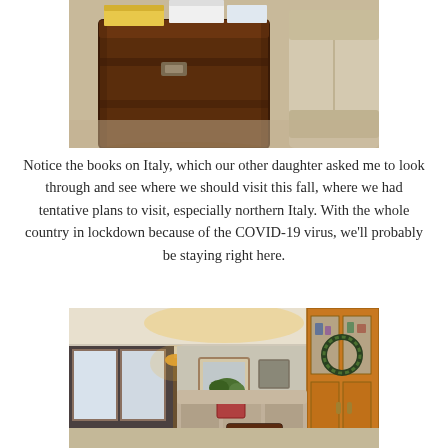[Figure (photo): Close-up photo of a dark brown antique wooden trunk used as a coffee table, with books on Italy on top, next to a beige upholstered sofa on carpet.]
Notice the books on Italy, which our other daughter asked me to look through and see where we should visit this fall, where we had tentative plans to visit, especially northern Italy. With the whole country in lockdown because of the COVID-19 virus, we'll probably be staying right here.
[Figure (photo): Interior living room photo showing a sectional sofa with patterned throw pillows, a dark wooden trunk as a coffee table, large windows on the left, a floor lamp, wall art, a large wooden hutch/cabinet on the right with decorative items and a wreath.]